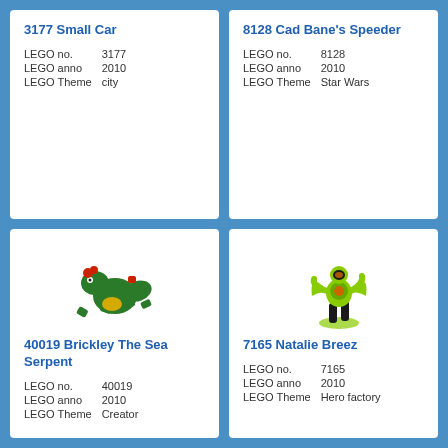3177 Small Car
| LEGO no. | 3177 |
| LEGO anno | 2010 |
| LEGO Theme | city |
8128 Cad Bane's Speeder
| LEGO no. | 8128 |
| LEGO anno | 2010 |
| LEGO Theme | Star Wars |
[Figure (photo): LEGO 40019 Brickley The Sea Serpent product image - green dragon/sea serpent pieces]
40019 Brickley The Sea Serpent
| LEGO no. | 40019 |
| LEGO anno | 2010 |
| LEGO Theme | Creator |
[Figure (photo): LEGO 7165 Natalie Breez product image - green Hero Factory figure]
7165 Natalie Breez
| LEGO no. | 7165 |
| LEGO anno | 2010 |
| LEGO Theme | Hero factory |